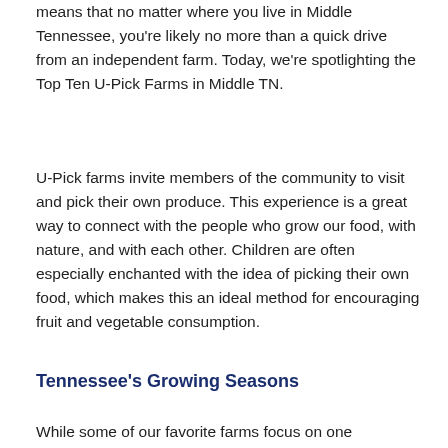means that no matter where you live in Middle Tennessee, you're likely no more than a quick drive from an independent farm. Today, we're spotlighting the Top Ten U-Pick Farms in Middle TN.
U-Pick farms invite members of the community to visit and pick their own produce. This experience is a great way to connect with the people who grow our food, with nature, and with each other. Children are often especially enchanted with the idea of picking their own food, which makes this an ideal method for encouraging fruit and vegetable consumption.
Tennessee's Growing Seasons
While some of our favorite farms focus on one